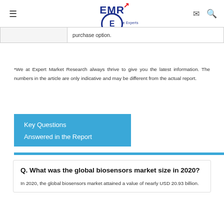EMR – Expert Market Research
|  |  |
| --- | --- |
|  | purchase option. |
*We at Expert Market Research always thrive to give you the latest information. The numbers in the article are only indicative and may be different from the actual report.
Key Questions Answered in the Report
Q. What was the global biosensors market size in 2020?
In 2020, the global biosensors market attained a value of nearly USD 20.93 billion.